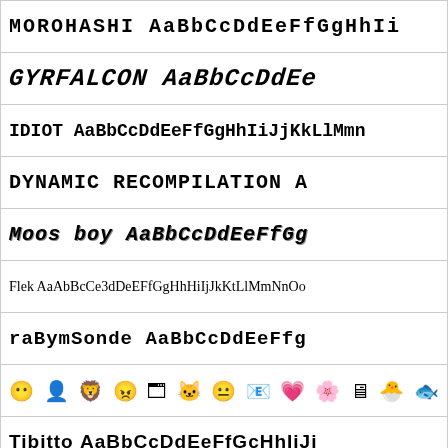[Figure (other): Font preview row: MOROHASHI AaBbCcDdEeFfGgHhIi in monospace bold]
[Figure (other): Font preview row: GYRFALCON AaBbCcDdEe in heavy italic display font]
[Figure (other): Font preview row: IDIOT AaBbCcDdEeFfGgHhIiJjKkLlMmn in monospace bold]
[Figure (other): Font preview row: DYNAMIC RECOMPILATION A in monospace bold]
[Figure (other): Font preview row: Moos boy AaBbCcDdEeFfGg in stylized display font]
[Figure (other): Font preview row: Flek AaAbBcCe3dDeEFfGgHhHiIjJkKtLlMmNnOo in serif]
[Figure (other): Font preview row: raBymSonde AaBbCcDdEeFfg in monospace bold]
[Figure (other): Font preview row: emoji/symbol characters]
[Figure (other): Font preview row: Tibitto AaBbCcDdEeFfGcHhIiJj in mixed-case display font]
Categorías de Fuentes
Most Popular
Newest
3D (35)
Aggressive (9)
All Caps (380)